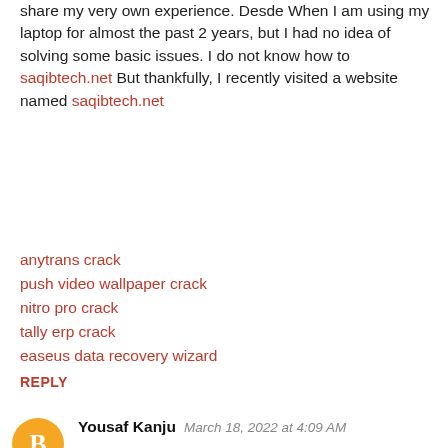share my very own experience. Desde When I am using my laptop for almost the past 2 years, but I had no idea of solving some basic issues. I do not know how to saqibtech.net But thankfully, I recently visited a website named saqibtech.net
anytrans crack
push video wallpaper crack
nitro pro crack
tally erp crack
easeus data recovery wizard
REPLY
Yousaf Kanju  March 18, 2022 at 4:09 AM
After looking through a few blog articles on your website, we sincerely appreciate the way you blogged. We've added it to our list of bookmarked web pages and will be checking back in the near future. Please also visit my website and tell us what you think Vstfull.com Little AlterBoy Crack